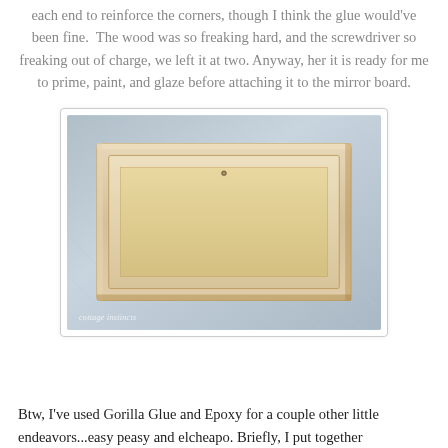each end to reinforce the corners, though I think the glue would've been fine. The wood was so freaking hard, and the screwdriver so freaking out of charge, we left it at two. Anyway, her it is ready for me to prime, paint, and glaze before attaching it to the mirror board.
[Figure (photo): A rectangular wooden frame/mirror frame lying on a gray surface, viewed from above at an angle. The frame has light natural wood molding and encloses a beige/cream colored board. A small nail or screw is visible near the top center. Watermark reads 'cottage instincts' in the lower left.]
Btw, I've used Gorilla Glue and Epoxy for a couple other little endeavors...easy peasy and elcheapo. Briefly, I put together